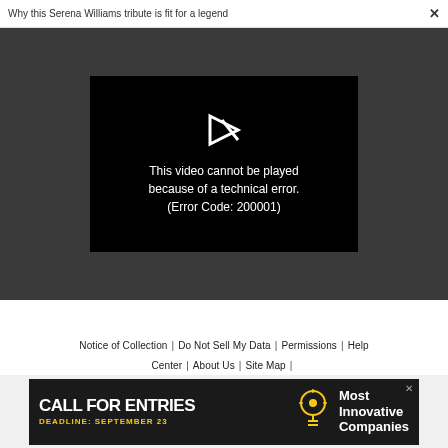Why this Serena Williams tribute is fit for a legend    ×
[Figure (screenshot): Video player showing error: black rectangle with play icon and text 'This video cannot be played because of a technical error. (Error Code: 200001)' on a dark gray background]
Notice of Collection  |  Do Not Sell My Data  |  Permissions  |  Help Center  |  About Us  |  Site Map  |  Fast Company & Inc © 2022 Mansueto Ventures, LLC
[Figure (infographic): Advertisement banner: dark background with 'CALL FOR ENTRIES' in large white text, 'DEADLINE: SEPTEMBER 23' in yellow, lightbulb icon, and 'Most Innovative Companies' in white text on right side]